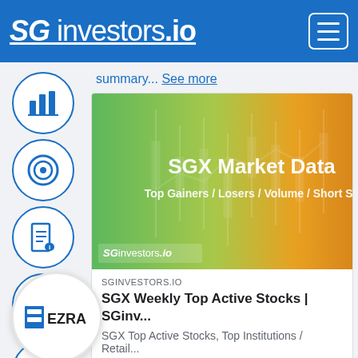SG investors.io
summary... See more
[Figure (screenshot): SGX Market Data banner image showing a green-to-orange gradient with candlestick chart background. Text reads 'SGX Market Data' and 'Top Gainers / Losers / Volume / Short Se' with 'SGinvestors.io' branding at bottom left. An EZRA company logo circle overlaps the left side of the image.]
SGINVESTORS.IO
SGX Weekly Top Active Stocks | SGinv...
SGX Top Active Stocks, Top Institutions / Retail...
2  Comment  Share